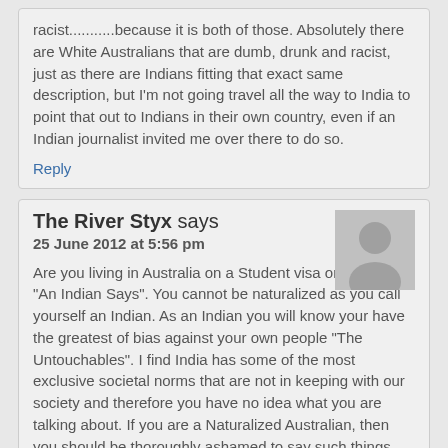racist...........because it is both of those. Absolutely there are White Australians that are dumb, drunk and racist, just as there are Indians fitting that exact same description, but I'm not going travel all the way to India to point that out to Indians in their own country, even if an Indian journalist invited me over there to do so.
Reply
The River Styx says
25 June 2012 at 5:56 pm
[Figure (other): Default user avatar placeholder (grey silhouette icon)]
Are you living in Australia on a Student visa or Work Visa "An Indian Says". You cannot be naturalized as you call yourself an Indian. As an Indian you will know your have the greatest of bias against your own people "The Untouchables". I find India has some of the most exclusive societal norms that are not in keeping with our society and therefore you have no idea what you are talking about. If you are a Naturalized Australian, then you should be thoroughly ashamed to say such things about my country who has given you a